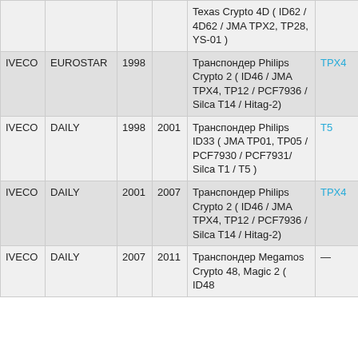|  |  |  |  | Transponder |  |
| --- | --- | --- | --- | --- | --- |
|  |  |  |  | Texas Crypto 4D ( ID62 / 4D62 / JMA TPX2, TP28, YS-01 ) |  |
| IVECO | EUROSTAR | 1998 |  | Транспондер Philips Crypto 2 ( ID46 / JMA TPX4, TP12 / PCF7936 / Silca T14 / Hitag-2) | TPX4 |
| IVECO | DAILY | 1998 | 2001 | Транспондер Philips ID33 ( JMA TP01, TP05 / PCF7930 / PCF7931/ Silca T1 / T5 ) | T5 |
| IVECO | DAILY | 2001 | 2007 | Транспондер Philips Crypto 2 ( ID46 / JMA TPX4, TP12 / PCF7936 / Silca T14 / Hitag-2) | TPX4 |
| IVECO | DAILY | 2007 | 2011 | Транспондер Megamos Crypto 48, Magic 2 ( ID48 | — |